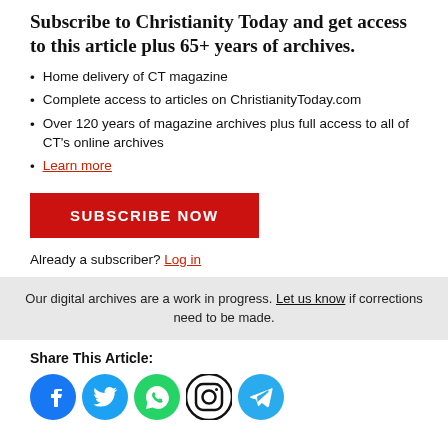Subscribe to Christianity Today and get access to this article plus 65+ years of archives.
Home delivery of CT magazine
Complete access to articles on ChristianityToday.com
Over 120 years of magazine archives plus full access to all of CT's online archives
Learn more
SUBSCRIBE NOW
Already a subscriber? Log in
Our digital archives are a work in progress. Let us know if corrections need to be made.
Share This Article:
[Figure (other): Social media icons: Facebook, Twitter, WhatsApp, Instagram, Telegram]